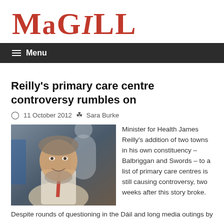MAGILL
Menu
Reilly's primary care centre controversy rumbles on
11 October 2012   Sara Burke
[Figure (photo): Photo of Minister for Health James Reilly, a middle-aged man with grey curly hair and a red tie, seated in what appears to be a public event setting.]
Minister for Health James Reilly's addition of two towns in his own constituency – Balbriggan and Swords – to a list of primary care centres is still causing controversy, two weeks after this story broke.
Despite rounds of questioning in the Dáil and long media outings by